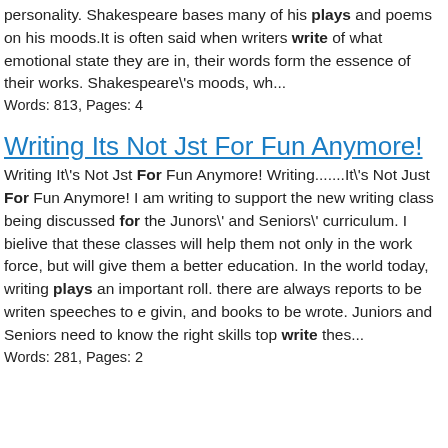personality. Shakespeare bases many of his plays and poems on his moods.It is often said when writers write of what emotional state they are in, their words form the essence of their works. Shakespeare\'s moods, wh...
Words: 813, Pages: 4
Writing Its Not Jst For Fun Anymore!
Writing It\'s Not Jst For Fun Anymore! Writing.......It\'s Not Just For Fun Anymore! I am writing to support the new writing class being discussed for the Junors\' and Seniors\' curriculum. I bielive that these classes will help them not only in the work force, but will give them a better education. In the world today, writing plays an important roll. there are always reports to be writen speeches to e givin, and books to be wrote. Juniors and Seniors need to know the right skills top write thes...
Words: 281, Pages: 2